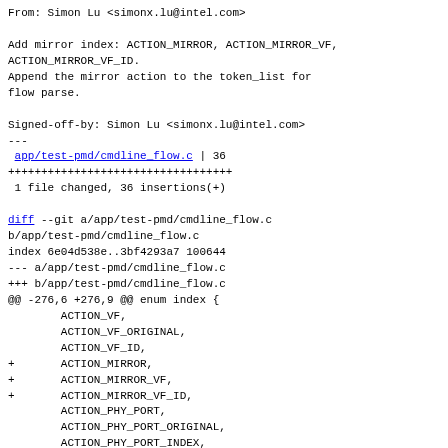From: Simon Lu <simonx.lu@intel.com>
Add mirror index: ACTION_MIRROR, ACTION_MIRROR_VF,
ACTION_MIRROR_VF_ID.
Append the mirror action to the token_list for
flow parse.
Signed-off-by: Simon Lu <simonx.lu@intel.com>
---
 app/test-pmd/cmdline_flow.c | 36
++++++++++++++++++++++++++++++++++
 1 file changed, 36 insertions(+)
diff --git a/app/test-pmd/cmdline_flow.c b/app/test-pmd/cmdline_flow.c
index 6e04d538e..3bf4293a7 100644
--- a/app/test-pmd/cmdline_flow.c
+++ b/app/test-pmd/cmdline_flow.c
@@ -276,6 +276,9 @@ enum index {
        ACTION_VF,
        ACTION_VF_ORIGINAL,
        ACTION_VF_ID,
+       ACTION_MIRROR,
+       ACTION_MIRROR_VF,
+       ACTION_MIRROR_VF_ID,
        ACTION_PHY_PORT,
        ACTION_PHY_PORT_ORIGINAL,
        ACTION_PHY_PORT_INDEX,
@@ -1144,6 +1147,7 @@ static const enum index next_action[] = {